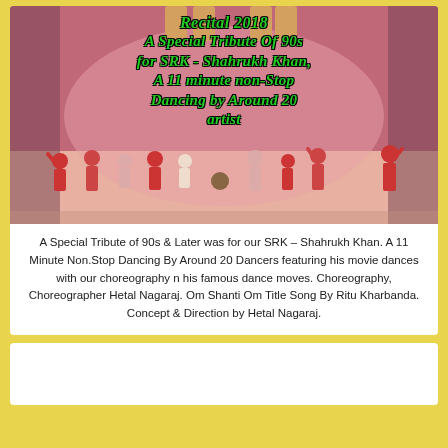[Figure (photo): Dance recital photo showing children performers on stage in red costumes with pink stage backdrop. Overlaid text reads: Recital 2018, A Special Tribute Of 90s for SRK - Shahrukh Khan, A 11 minute non-Stop Dancing by Around 20 artist]
A Special Tribute of 90s & Later was for our SRK – Shahrukh Khan. A 11 Minute Non.Stop Dancing By Around 20 Dancers featuring his movie dances with our choreography n his famous dance moves. Choreography, Choreographer Hetal Nagaraj. Om Shanti Om Title Song By Ritu Kharbanda. Concept & Direction by Hetal Nagaraj.